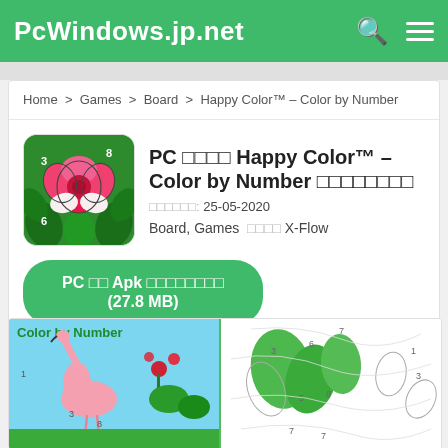PcWindows.jp.net
Home > Games > Board > Happy Color™ – Color by Number
PC □□□□ Happy Color™ – Color by Number □□□□□□□□
□□□□□□: 25-05-2020
Board, Games □□□□ X-Flow
PC □□ Apk □□□□□□□□ (27.8 MB)
[Figure (screenshot): Color by Number app screenshots showing flamingo scene and numbered coloring page with plants]